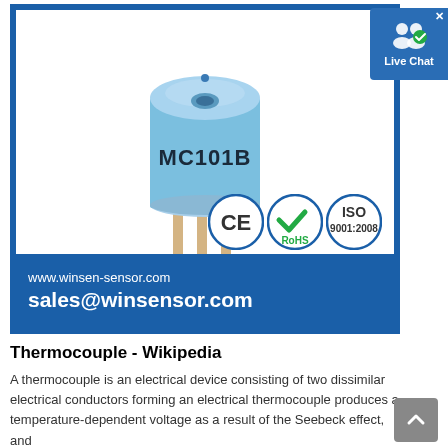[Figure (photo): Blue cylindrical MC101B sensor component with gold pins at bottom, shown against white background inside a blue-bordered product card. Bottom of card shows website www.winsen-sensor.com and email sales@winsensor.com on dark blue banner, with CE, RoHS, and ISO 9001:2008 certification badges. A Live Chat button overlay appears in top-right corner.]
Thermocouple - Wikipedia
A thermocouple is an electrical device consisting of two dissimilar electrical conductors forming an electrical thermocouple produces a temperature-dependent voltage as a result of the Seebeck effect, and